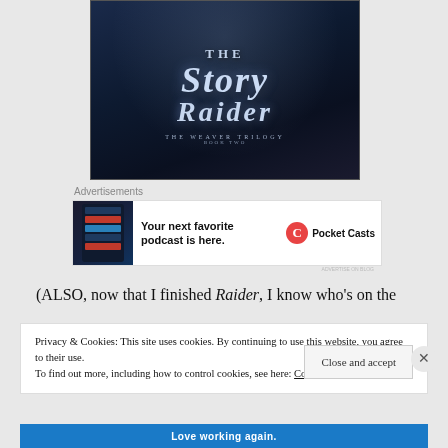[Figure (illustration): Book cover for 'The Story Raider - The Weaver Trilogy Book Two' with dark blue/navy background and ornate fantasy lettering]
Advertisements
[Figure (photo): Advertisement banner for Pocket Casts podcast app showing phone screen and text: 'Your next favorite podcast is here.' with Pocket Casts logo]
(ALSO, now that I finished Raider, I know who's on the
Privacy & Cookies: This site uses cookies. By continuing to use this website, you agree to their use.
To find out more, including how to control cookies, see here: Cookie Policy
Close and accept
Love working again.